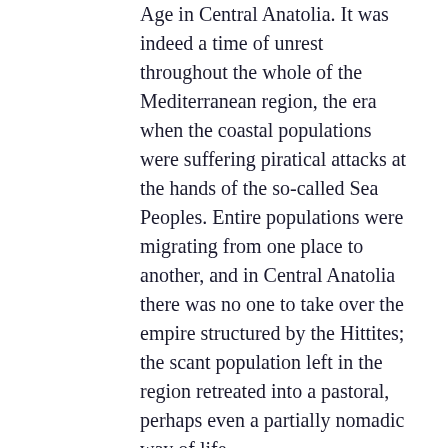Age in Central Anatolia. It was indeed a time of unrest throughout the whole of the Mediterranean region, the era when the coastal populations were suffering piratical attacks at the hands of the so-called Sea Peoples. Entire populations were migrating from one place to another, and in Central Anatolia there was no one to take over the empire structured by the Hittites; the scant population left in the region retreated into a pastoral, perhaps even a partially nomadic way of life.
Index
VI. The End of the Capital City Hattusha (ca. 1200/1180 BC)
With the decline of its great empire, the capital lost its influence and thereby also its role as a political, economic and